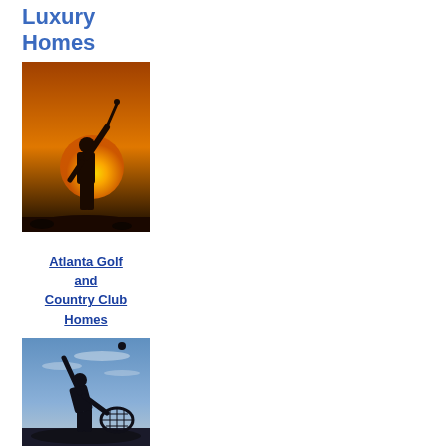Luxury Homes
[Figure (photo): Silhouette of a golfer swinging a club against a golden sunset sky]
Atlanta Golf and Country Club Homes
[Figure (photo): Silhouette of a tennis player serving against a blue sky at dusk]